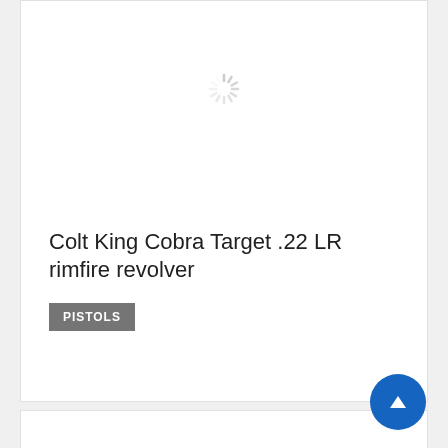[Figure (other): Loading spinner (circular progress indicator) centered in white card area]
Colt King Cobra Target .22 LR rimfire revolver
PISTOLS